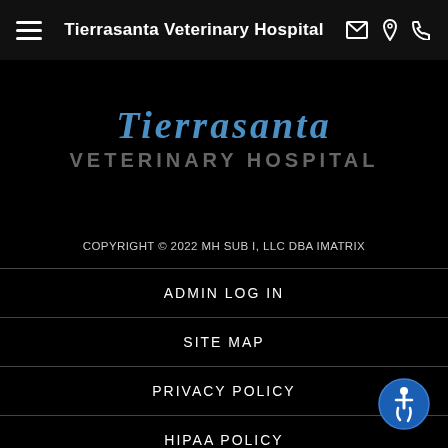Tierrasanta Veterinary Hospital
[Figure (logo): Tierrasanta Veterinary Hospital logo with blue italic script and grey bold uppercase VETERINARY HOSPITAL text on black background]
COPYRIGHT © 2022 MH SUB I, LLC DBA IMATRIX
ADMIN LOG IN
SITE MAP
PRIVACY POLICY
HIPAA POLICY
TERMS OF USE